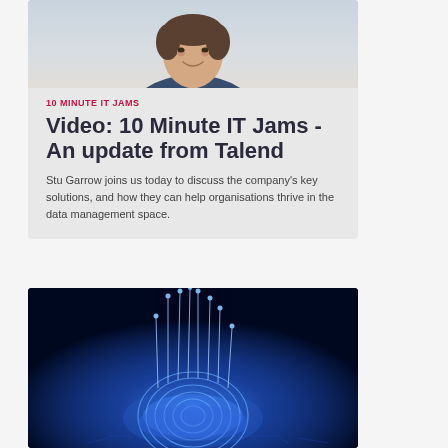[Figure (photo): Portrait photo of a smiling man in a blue blazer against a light background]
10 MINUTE IT JAMS
Video: 10 Minute IT Jams - An update from Talend
Stu Garrow joins us today to discuss the company's key solutions, and how they can help organisations thrive in the data management space.
[Figure (photo): Digital fingerprint glowing in blue light on a circuit board background]